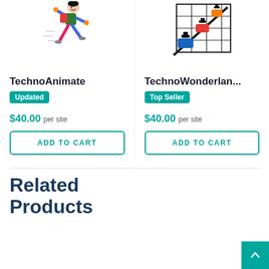[Figure (illustration): Cartoon boy running with a backpack]
[Figure (illustration): Cartoon children on a roller coaster with a grid/track background]
TechnoAnimate
Updated
$40.00 per site
ADD TO CART
TechnoWonderlan...
Top Seller
$40.00 per site
ADD TO CART
Related
Products